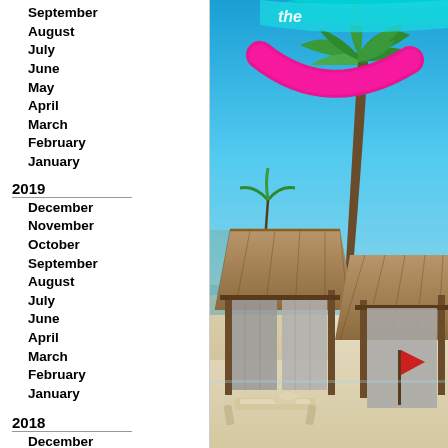September
August
July
June
May
April
March
February
January
2019
December
November
October
September
August
July
June
April
March
February
January
2018
December
November
October
September
August
July
June
May
[Figure (photo): Tropical beach scene with palm trees, thatched-roof cabana/palapas, beach loungers, a red flag, and bright blue sky. Overlay of a colorful logo/graphic in the upper portion with cyan/teal and pink colors.]